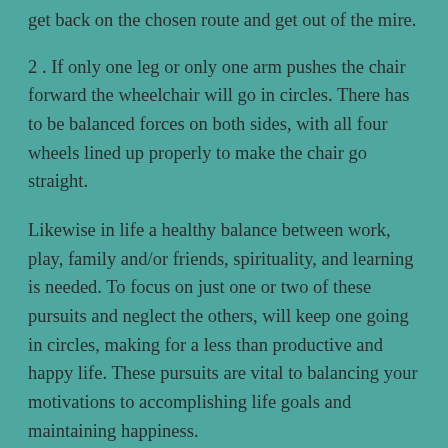get back on the chosen route and get out of the mire.
2 . If only one leg or only one arm pushes the chair forward the wheelchair will go in circles. There has to be balanced forces on both sides, with all four wheels lined up properly to make the chair go straight.
Likewise in life a healthy balance between work, play, family and/or friends, spirituality, and learning is needed. To focus on just one or two of these pursuits and neglect the others, will keep one going in circles, making for a less than productive and happy life. These pursuits are vital to balancing your motivations to accomplishing life goals and maintaining happiness.
3 . (partial, cut off at bottom)